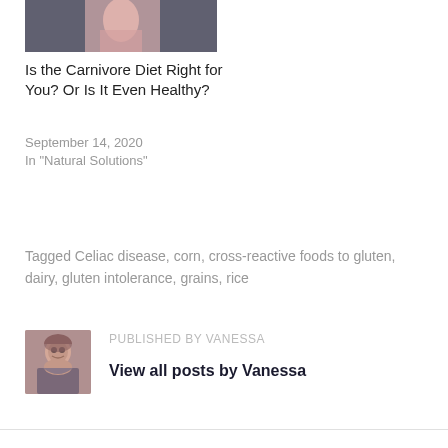[Figure (photo): Partial view of a decorative image related to carnivore diet article]
Is the Carnivore Diet Right for You? Or Is It Even Healthy?
September 14, 2020
In "Natural Solutions"
Tagged Celiac disease, corn, cross-reactive foods to gluten, dairy, gluten intolerance, grains, rice
[Figure (photo): Author photo of Vanessa, a woman with shoulder-length brown hair smiling]
PUBLISHED BY VANESSA
View all posts by Vanessa